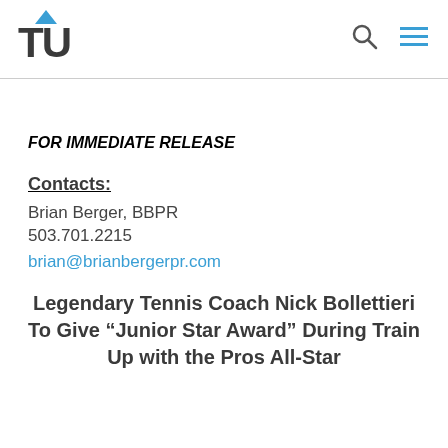TU logo with search and menu icons
FOR IMMEDIATE RELEASE
Contacts:
Brian Berger, BBPR
503.701.2215
brian@brianbergerpr.com
Legendary Tennis Coach Nick Bollettieri To Give “Junior Star Award” During Train Up with the Pros All-Star